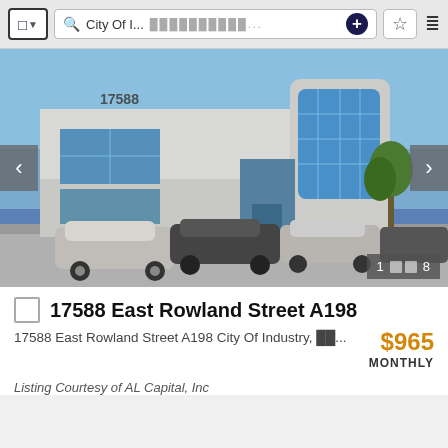[Figure (screenshot): Browser toolbar with shield icon, search bar showing 'City Of I...', URL field with redacted text, plus button, star bookmark, and menu icon]
[Figure (photo): Exterior photo of a modern commercial/industrial building at 17588 East Rowland Street, two-story white building with large blue glass windows and curved glass facade, cars parked in front lot, blue sky background. Navigation arrows on sides, image counter '1 of 8' bottom right.]
17588 East Rowland Street A198
17588 East Rowland Street A198 City Of Industry, ██...
$965 MONTHLY
Listing Courtesy of AL Capital, Inc